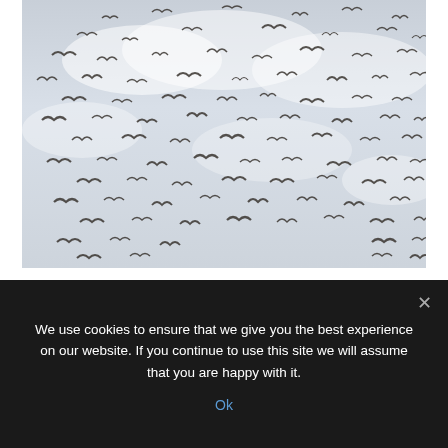[Figure (photo): A large flock of birds (starlings or pigeons) flying in a murmuration against a pale grey overcast sky. Hundreds of dark birds are scattered across the entire frame in various poses of flight.]
We use cookies to ensure that we give you the best experience on our website. If you continue to use this site we will assume that you are happy with it.
Ok